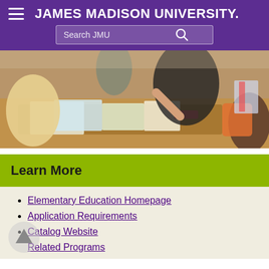JAMES MADISON UNIVERSITY.
[Figure (photo): Classroom scene with a teacher leaning over a desk helping students with papers and educational materials. Children and adults visible around a wooden desk.]
Learn More
Elementary Education Homepage
Application Requirements
Catalog Website
Related Programs